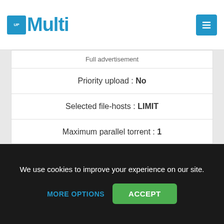[Figure (logo): MultiUp logo with blue icon and 'Multi' text in blue]
Full advertisement
Priority upload : No
Selected file-hosts : LIMIT
Maximum parallel torrent : 1
Maximum queue size : 2
Maximum download and upload time : 48 Hours
Maximum filesize for torrent : 10 Go
We use cookies to improve your experience on our site.
MORE OPTIONS
ACCEPT